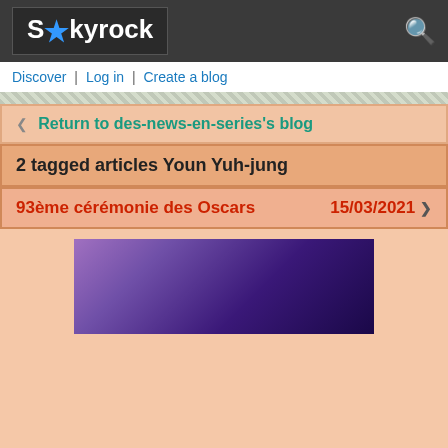Skyrock
Discover | Log in | Create a blog
Return to des-news-en-series's blog
2 tagged articles Youn Yuh-jung
93ème cérémonie des Oscars   15/03/2021
[Figure (photo): Purple/violet gradient image, possibly a dress or fabric, used as article banner]
Les nommés pour la 93ème cérémonie des Oscars viennent juste d'être annoncés. C'est le dimanche 25 avril que seront dévoilés les noms des gagnants.
Les gagnants sont en GRAS 🏆
Meilleur film
The Father